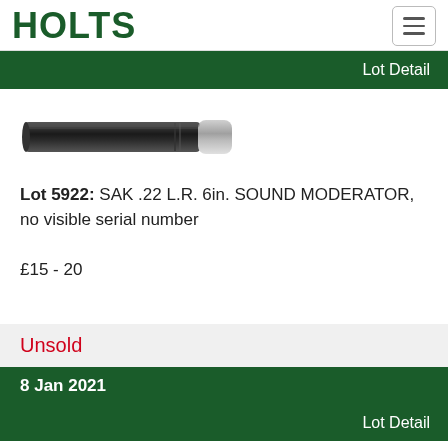HOLTS
Lot Detail
[Figure (photo): Photo of a SAK .22 L.R. 6in. sound moderator (suppressor) — a cylindrical black tube with a silver threaded end cap.]
Lot 5922: SAK .22 L.R. 6in. SOUND MODERATOR, no visible serial number
£15 - 20
Unsold
8 Jan 2021
Lot Detail